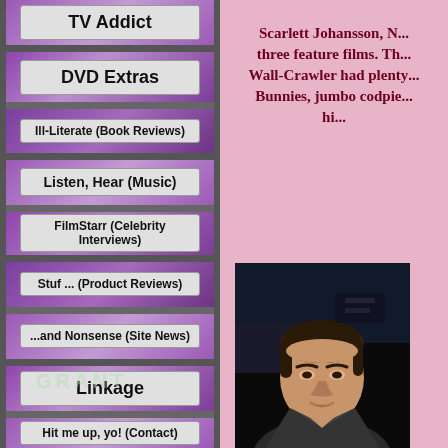TV Addict
DVD Extras
Ill-Literate (Book Reviews)
Listen, Hear (Music)
FilmStarr (Celebrity Interviews)
Stuf ... (Product Reviews)
...and Nonsense (Site News)
Linkage
Hit me up, yo! (Contact)
Scarlett Johansson, N... three feature films. Th... Wall-Crawler had plenty... Bunnies, jumbo codpie... hi...
[Figure (photo): Photo of a young man with dark brown hair, wearing a dark jacket, photographed at what appears to be an event or venue with dark background.]